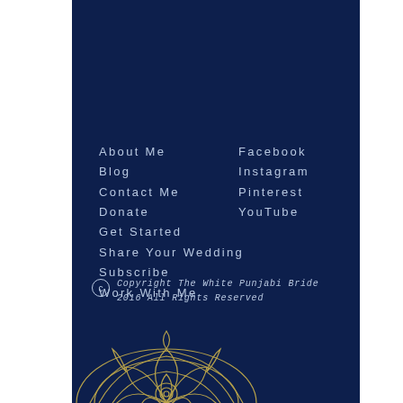About Me
Blog
Contact Me
Donate
Get Started
Share Your Wedding
Subscribe
Work With Me
Facebook
Instagram
Pinterest
YouTube
Copyright The White Punjabi Bride 2016 All Rights Reserved
[Figure (illustration): Decorative mandala motif in gold/yellow outline at the bottom of the page]